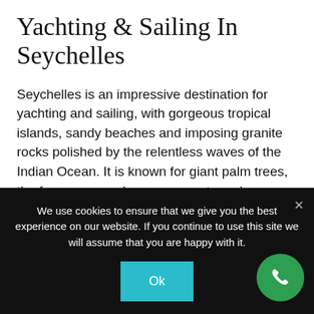Yachting & Sailing In Seychelles
Seychelles is an impressive destination for yachting and sailing, with gorgeous tropical islands, sandy beaches and imposing granite rocks polished by the relentless waves of the Indian Ocean. It is known for giant palm trees, the famous coco de mer coconuts and turquoise inlets fringed with lush green takamakas shading fine, white sand beaches. Sailing & Yachting is one of the most interesting activities to do in Seychelles. Seychelles is not just the pearl of the Indian Ocean, but one of the most beautiful and exotic locations in the entire world. You'll be captivated by their unspoiled beauty and unadulterated nature. Seychelles' natural wonders are enough to make any
We use cookies to ensure that we give you the best experience on our website. If you continue to use this site we will assume that you are happy with it.